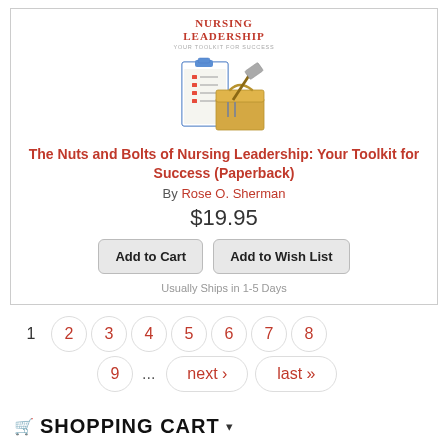[Figure (illustration): Book cover for 'Nursing Leadership: Your Toolkit for Success' showing a clipboard with checklist and a toolbox with tools]
The Nuts and Bolts of Nursing Leadership: Your Toolkit for Success (Paperback)
By Rose O. Sherman
$19.95
Add to Cart | Add to Wish List
Usually Ships in 1-5 Days
1 2 3 4 5 6 7 8 9 ... next › last »
SHOPPING CART